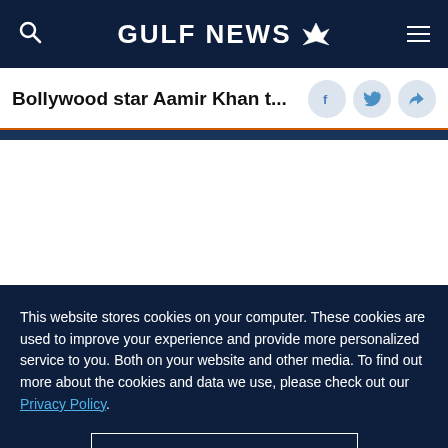GULF NEWS
Bollywood star Aamir Khan t...
This website stores cookies on your computer. These cookies are used to improve your experience and provide more personalized service to you. Both on your website and other media. To find out more about the cookies and data we use, please check out our Privacy Policy.
OK